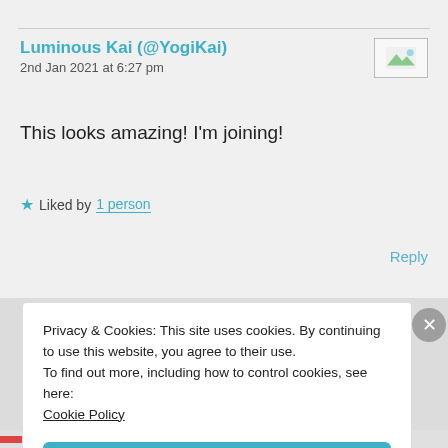Luminous Kai (@YogiKai)
2nd Jan 2021 at 6:27 pm
This looks amazing! I'm joining!
★ Liked by 1 person
Reply
Privacy & Cookies: This site uses cookies. By continuing to use this website, you agree to their use.
To find out more, including how to control cookies, see here:
Cookie Policy
Close and accept